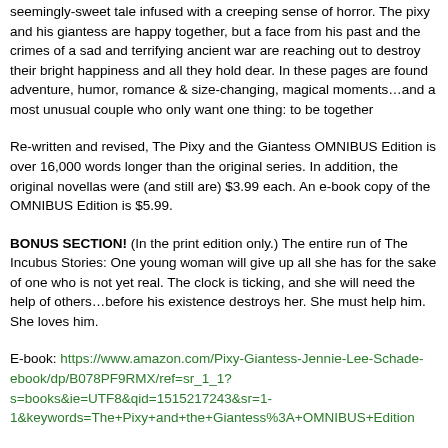seemingly-sweet tale infused with a creeping sense of horror. The pixy and his giantess are happy together, but a face from his past and the crimes of a sad and terrifying ancient war are reaching out to destroy their bright happiness and all they hold dear. In these pages are found adventure, humor, romance & size-changing, magical moments…and a most unusual couple who only want one thing: to be together
Re-written and revised, The Pixy and the Giantess OMNIBUS Edition is over 16,000 words longer than the original series. In addition, the original novellas were (and still are) $3.99 each. An e-book copy of the OMNIBUS Edition is $5.99.
BONUS SECTION! (In the print edition only.) The entire run of The Incubus Stories: One young woman will give up all she has for the sake of one who is not yet real. The clock is ticking, and she will need the help of others…before his existence destroys her. She must help him. She loves him.
E-book: https://www.amazon.com/Pixy-Giantess-Jennie-Lee-Schade-ebook/dp/B078PF9RMX/ref=sr_1_1?s=books&ie=UTF8&qid=1515217243&sr=1-1&keywords=The+Pixy+and+the+Giantess%3A+OMNIBUS+Edition